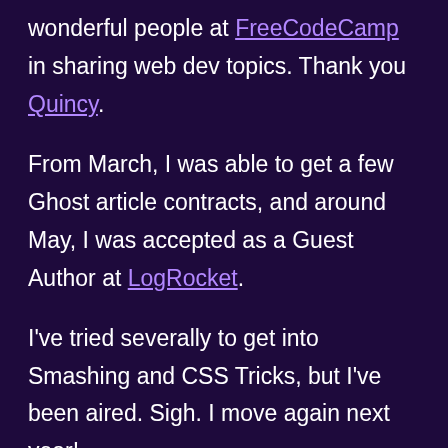wonderful people at FreeCodeCamp in sharing web dev topics. Thank you Quincy.
From March, I was able to get a few Ghost article contracts, and around May, I was accepted as a Guest Author at LogRocket.
I've tried severally to get into Smashing and CSS Tricks, but I've been aired. Sigh. I move again next year!